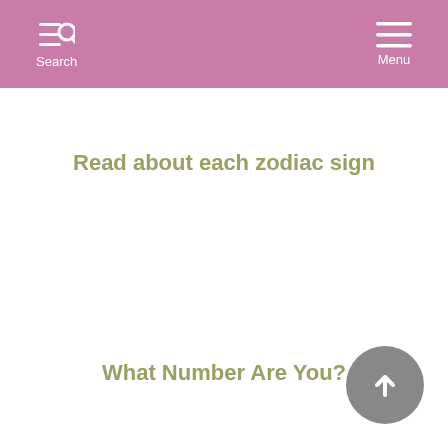Search Menu
Read about each zodiac sign
What Number Are You?